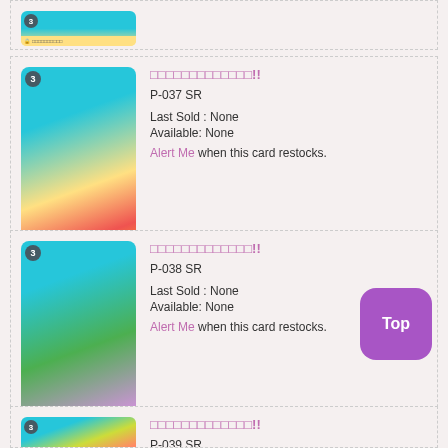[Figure (illustration): Partial trading card with blue/teal background at top of page]
[Figure (illustration): Digimon trading card P-037 SR with yellow/teal background creature illustration and Japanese text]
□□□□□□□□□□□□□!!
P-037 SR
Last Sold : None
Available: None
Alert Me when this card restocks.
[Figure (illustration): Digimon trading card P-038 SR with green creature illustration and Japanese text]
□□□□□□□□□□□□□!!
P-038 SR
Last Sold : None
Available: None
Alert Me when this card restocks.
[Figure (illustration): Partial Digimon trading card P-039 SR at bottom of page]
□□□□□□□□□□□□□!!
P-039 SR